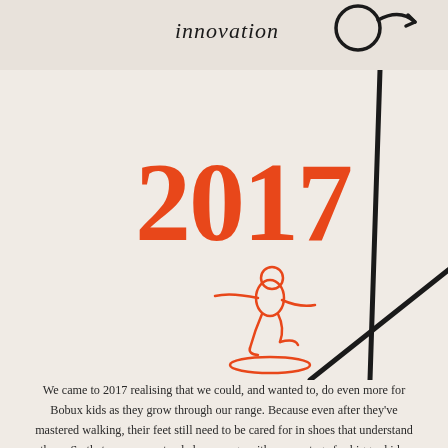[Figure (illustration): Handwritten text 'innovation' with arrow and circular loop drawn in black ink, decorative heading element]
[Figure (illustration): Large orange bold number '2017' with a black diagonal line/stroke through it, and a running child illustration in orange outline below it]
We came to 2017 realising that we could, and wanted to, do even more for Bobux kids as they grow through our range. Because even after they've mastered walking, their feet still need to be cared for in shoes that understand them. So that year, we extended our range with a new stage for bigger kids: Kid+. Designed for natural movement with more durability, and a built on custom lasts that follow the more mature curves of their feet.